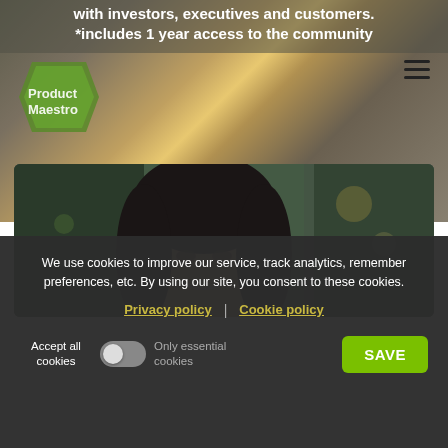with investors, executives and customers.
*includes 1 year access to the community
[Figure (logo): Product Maestro logo - green geometric hexagon/diamond shape with text 'Product Maestro']
[Figure (photo): Smiling Asian woman with dark hair, blurred outdoor background with green and dark tones]
We use cookies to improve our service, track analytics, remember preferences, etc. By using our site, you consent to these cookies.
Privacy policy | Cookie policy
Accept all cookies  [toggle off]  Only essential cookies  [SAVE button]